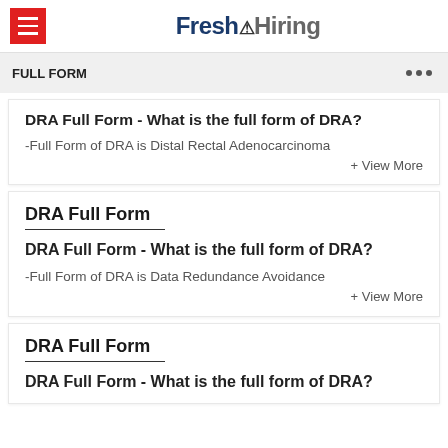Fresh Hiring
FULL FORM
DRA Full Form - What is the full form of DRA?
-Full Form of DRA is Distal Rectal Adenocarcinoma
+ View More
DRA Full Form
DRA Full Form - What is the full form of DRA?
-Full Form of DRA is Data Redundance Avoidance
+ View More
DRA Full Form
DRA Full Form - What is the full form of DRA?